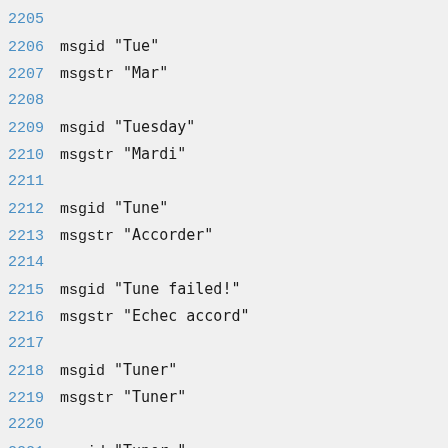2205
2206 msgid "Tue"
2207 msgstr "Mar"
2208
2209 msgid "Tuesday"
2210 msgstr "Mardi"
2211
2212 msgid "Tune"
2213 msgstr "Accorder"
2214
2215 msgid "Tune failed!"
2216 msgstr "Echec accord"
2217
2218 msgid "Tuner"
2219 msgstr "Tuner"
2220
2221 msgid "Tuner "
2222 msgstr "Tuner "
2223
2224 msgid "Tuner Slot"